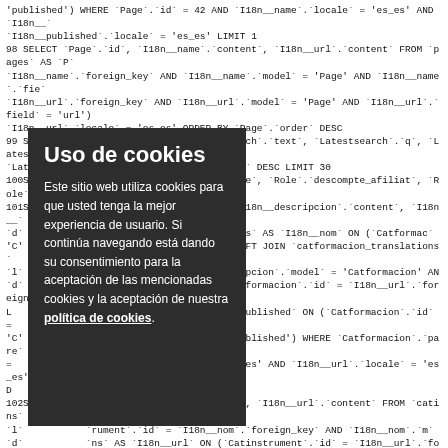'published') WHERE `Page`.`id` = 42 AND `I18n__name`.`locale` = 'es_es' AND `I18n__`
`I18n__published`.`locale` = 'es_es' LIMIT 1
98 SELECT `Page`.`id`, `I18n__name`.`content`, `I18n__url`.`content` FROM `pages` AS `P`
`I18n__name`.`foreign_key` AND `I18n__name`.`model` = 'Page' AND `I18n__name`.`fie`
`I18n__url`.`foreign_key` AND `I18n__url`.`model` = 'Page' AND `I18n__url`.`field` = 'url'`
`I18n__url`.`locale` = 'es_es' ORDER BY `Page`.`order` DESC
99 SELECT `Latestsearch`.`id`, `Latestsearch`.`text`, `Latestsearch`.`q`, `Latestsearch`.`url`
`Latestsearch` WHERE 1 = 1 ORDER BY `count` DESC LIMIT 30
100S[...] `e`.`name`, `Role`.`descompte`, `Role`.`descompte_afiliat`, `Role`
101S[...] *, `I18n__nom`.`content`, `I18n__descripcion`.`content`, `I18n__`
`d` [...] IN `catformacion_translations` AS `I18n__nom` ON (`Catformac`
'C' [...] `n__nom`.`field` = 'nom') LEFT JOIN `catformacion_translations`
`l` [...] `eign_key` AND `I18n__descripcion`.`model` = 'Catformacion' AN
`d` [...] `ns` AS `I18n__url` ON (`Catformacion`.`id` = `I18n__url`.`foreign`
L [...] `n_translations` AS `I18n__published` ON (`Catformacion`.`id` =
'C' [...] `n__published`.`field` = 'published') WHERE `Catformacion`.`pare`
= [...] `escripcion`.`locale` = 'es_es' AND `I18n__url`.`locale` = 'es_es' A
D [...]
102S[...] .`id`, `I18n__nom`.`content`, `I18n__url`.`content` FROM `catins`
`l` [...] `rument`.`id` = `I18n__nom`.`foreign_key` AND `I18n__nom`.`m`
`d` [...] `ns` AS `I18n__url` ON (`Catinstrument`.`id` = `I18n__url`.`foreig`
W [...] .`parent_id` IN (70,71,72,73,74,1699) AND `I18n__nom`.`locale`
`l` [...] `SC
103S[...] `_name`.`content`, `I18n__html`.`content`, `I18n__url`.`content`
`p` [...] `I18n__name` ON (`Page`.`id` = `I18n__name`.`foreign_key` AN
J [...] `s` AS `I18n__html` ON (`Page`.`id` = `I18n__html`.`foreign_key`
JOIN `pages_translations` AS `I18n__url` ON (`Page`.`id` = `I18n__url`.`foreign_key` AN
`pages_translations` AS `I18n__published` ON (`Page`.`id` = `I18n__published`.`foreign_`
'published') WHERE `Page`.`published` = '1' AND `I18n__name`.`locale` = 'es_es' AND
`I18n__published`.`locale` = 'es_es' ORDER BY `order` DESC
104SELECT `I18n__name`.`content`, `I18n__url`.`content` FROM `pages` AS `Page` LEFT
Uso de cookies

Este sitio web utiliza cookies para que usted tenga la mejor experiencia de usuario. Si continúa navegando está dando su consentimiento para la aceptación de las mencionadas cookies y la aceptación de nuestra política de cookies.